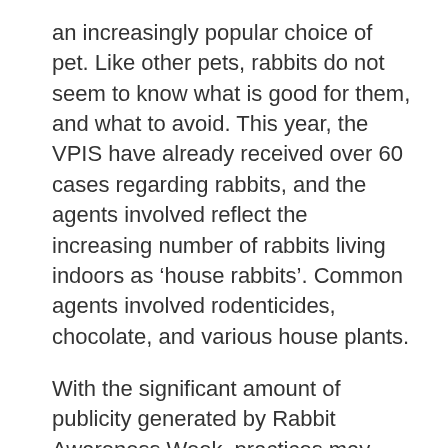an increasingly popular choice of pet. Like other pets, rabbits do not seem to know what is good for them, and what to avoid. This year, the VPIS have already received over 60 cases regarding rabbits, and the agents involved reflect the increasing number of rabbits living indoors as ‘house rabbits’. Common agents involved rodenticides, chocolate, and various house plants.
With the significant amount of publicity generated by Rabbit Awareness Week, practices may experience more enquiries related to rabbits, and we can help both vets and owners with all the information needed to proceed with a case in the appropriate way. We cover a huge range of agents, and ensure that our advice is up-to-date with constant research and from our database of over